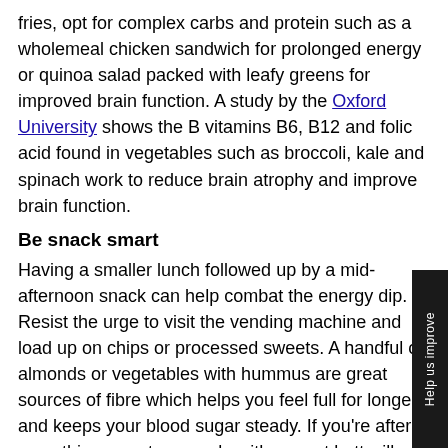fries, opt for complex carbs and protein such as a wholemeal chicken sandwich for prolonged energy or quinoa salad packed with leafy greens for improved brain function. A study by the Oxford University shows the B vitamins B6, B12 and folic acid found in vegetables such as broccoli, kale and spinach work to reduce brain atrophy and improve brain function.
Be snack smart
Having a smaller lunch followed up by a mid-afternoon snack can help combat the energy dip. Resist the urge to visit the vending machine and load up on chips or processed sweets. A handful of almonds or vegetables with hummus are great sources of fibre which helps you feel full for longer and keeps your blood sugar steady. If you're after something sweet, an apple with peanut butt will help satisfy those sugar cravings. Apples are low in kilojoules and just 2 tablespoons of peanut butter contains 8grams of protein, as well as good fats to help you stay fuller for longer.
Take a screen break